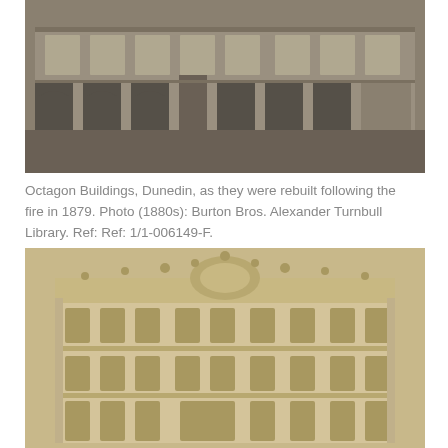[Figure (photo): Black and white historical photograph of Octagon Buildings in Dunedin, showing a row of two-storey commercial buildings with arched ground-floor windows and storefronts, taken in the 1880s.]
Octagon Buildings, Dunedin, as they were rebuilt following the fire in 1879. Photo (1880s): Burton Bros. Alexander Turnbull Library. Ref: Ref: 1/1-006149-F.
[Figure (photo): Sepia-toned historical photograph of a grand Victorian-era multi-storey building with ornate dome, decorative finials and columns, showing the corner facade of a large commercial or civic building in Dunedin.]